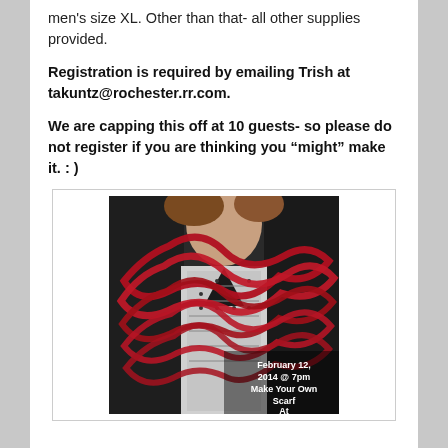men's size XL. Other than that- all other supplies provided.
Registration is required by emailing Trish at takuntz@rochester.rr.com.
We are capping this off at 10 guests- so please do not register if you are thinking you “might” make it. : )
[Figure (photo): Photo of a woman wearing a red looped scarf over a black and white patterned top with a dark jacket. Text overlay reads: February 12, 2014 @ 7pm Make Your Own Scarf At]